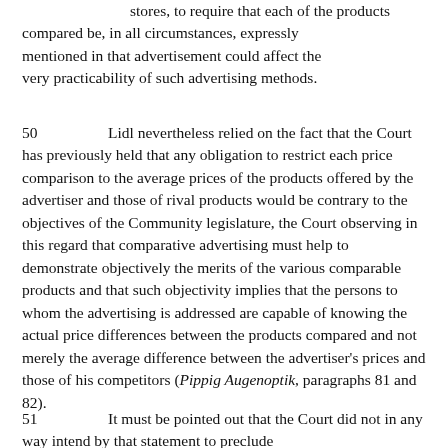stores, to require that each of the products compared be, in all circumstances, expressly mentioned in that advertisement could affect the very practicability of such advertising methods.
50      Lidl nevertheless relied on the fact that the Court has previously held that any obligation to restrict each price comparison to the average prices of the products offered by the advertiser and those of rival products would be contrary to the objectives of the Community legislature, the Court observing in this regard that comparative advertising must help to demonstrate objectively the merits of the various comparable products and that such objectivity implies that the persons to whom the advertising is addressed are capable of knowing the actual price differences between the products compared and not merely the average difference between the advertiser's prices and those of his competitors (Pippig Augenoptik, paragraphs 81 and 82).
51      It must be pointed out that the Court did not in any way intend by that statement to preclude